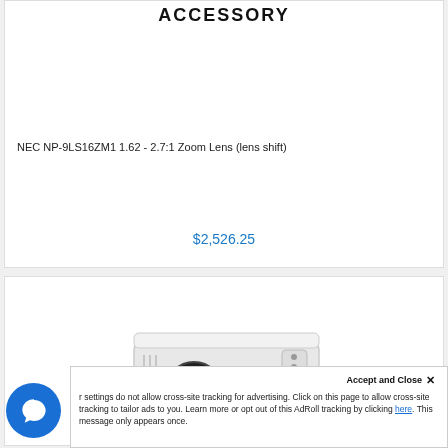ACCESSORY
NEC NP-9LS16ZM1 1.62 - 2.7:1 Zoom Lens (lens shift)
$2,526.25
[Figure (photo): White projector device shown from a front-side angle with a black lens]
Accept and Close ✕
r settings do not allow cross-site tracking for advertising. Click on this page to allow cross-site tracking to tailor ads to you. Learn more or opt out of this AdRoll tracking by clicking here. This message only appears once.